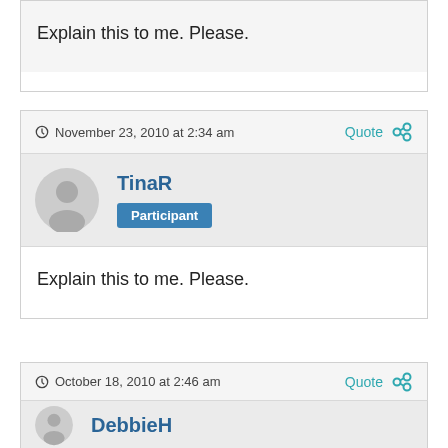Explain this to me. Please.
November 23, 2010 at 2:34 am
TinaR
Participant
Explain this to me. Please.
October 18, 2010 at 2:46 am
DebbieH